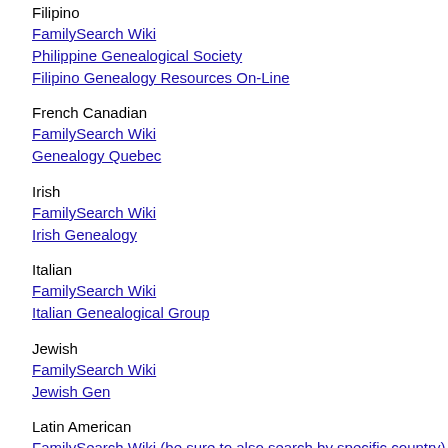Filipino
FamilySearch Wiki
Philippine Genealogical Society
Filipino Genealogy Resources On-Line
French Canadian
FamilySearch Wiki
Genealogy Quebec
Irish
FamilySearch Wiki
Irish Genealogy
Italian
FamilySearch Wiki
Italian Genealogical Group
Jewish
FamilySearch Wiki
Jewish Gen
Latin American
FamilySearch Wiki (be sure to also search by specific country)
Hispanic Genealogy Guide by Colleen Robledo Green
Mexican